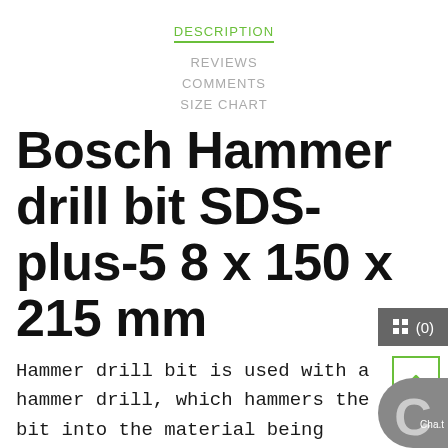DESCRIPTION
REVIEWS
COMMENTS
SIZE CHART
Bosch Hammer drill bit SDS-plus-5 8 x 150 x 215 mm
Hammer drill bit is used with a hammer drill, which hammers the bit into the material being drilled as it rotates. The SDS PLUS-5 has an insert of tungsten carbide brazed into the steel to provide the cutting edge. Also has a diameter-optimised brazing and hardening technology to increase the robustness